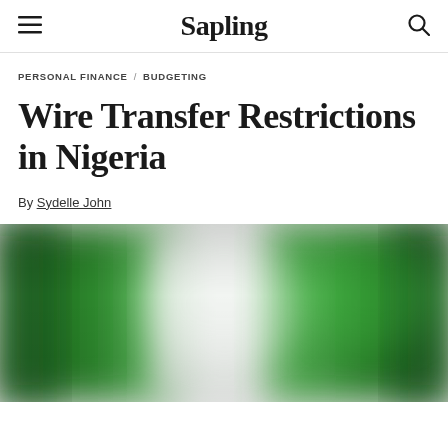Sapling
PERSONAL FINANCE / BUDGETING
Wire Transfer Restrictions in Nigeria
By Sydelle John
[Figure (photo): Blurred close-up of the Nigerian flag showing green and white vertical stripes]